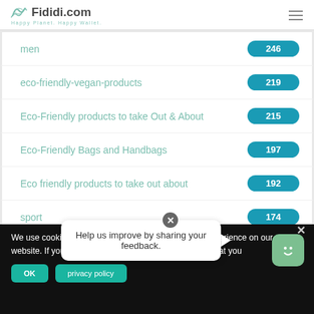Fididi.com — Happy Planet. Happy Wallet.
men  246
eco-friendly-vegan-products  219
Eco-Friendly products to take Out & About  215
Eco-Friendly Bags and Handbags  197
Eco friendly products to take out about  192
sport  174
Eco-Friendly Bath Products  152
We use cookies to ensure that we give you the best experience on our website. If you continue to use this site we will assume that you
Help us improve by sharing your feedback.